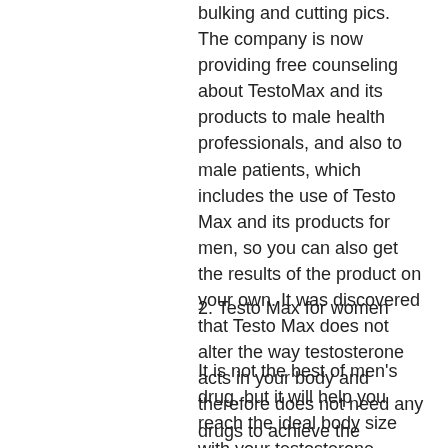bulking and cutting pics. The company is now providing free counseling about TestoMax and its products to male health professionals, and also to male patients, which includes the use of Testo Max and its products for men, so you can also get the results of the product on your own. It was discovered that Testo Max does not alter the way testosterone acts in your body and therefore does not need any drugs to achieve the changes. It works in any kind of body; the treatment doesn't alter any bodily function, bulking and cutting book.
2. Testo Max for women
It is not the best of men's drug, but it will help you reach the ideal body size with your testosterone levels. Women need testosterone in order to achieve a more masculine body, bulking and cutting fat